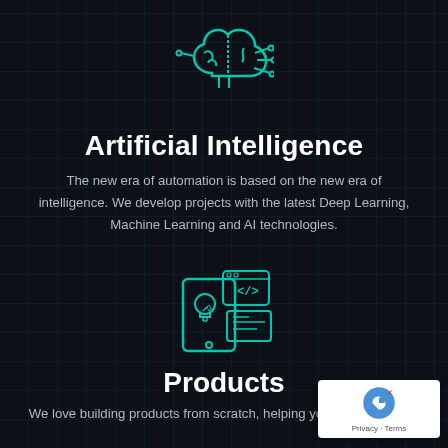[Figure (illustration): Teal outline icon of a brain with circuit-board connectors and nodes branching from it, representing artificial intelligence]
Artificial Intelligence
The new era of automation is based on the new era of intelligence. We develop projects with the latest Deep Learning, Machine Learning and AI technologies.
[Figure (illustration): Teal outline icon showing a smartphone with a lightbulb, a coding window with </> tag, and a card/document widget — representing software product development]
Products
We love building products from scratch, helping you maximize your